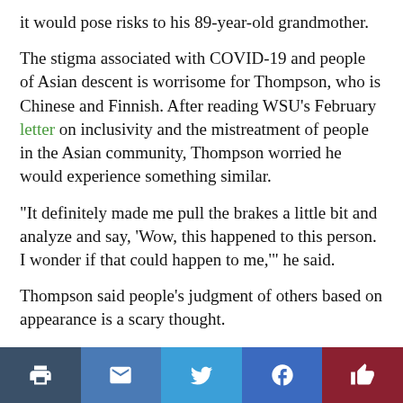it would pose risks to his 89-year-old grandmother.
The stigma associated with COVID-19 and people of Asian descent is worrisome for Thompson, who is Chinese and Finnish. After reading WSU’s February letter on inclusivity and the mistreatment of people in the Asian community, Thompson worried he would experience something similar.
“It definitely made me pull the brakes a little bit and analyze and say, ‘Wow, this happened to this person. I wonder if that could happen to me,’” he said.
Thompson said people’s judgment of others based on appearance is a scary thought.
Although he spends most of his time at home, Thompson schedules time to play basketball at a nearby park. He said he misses campus life and attending WSU’s football and bas
“I really